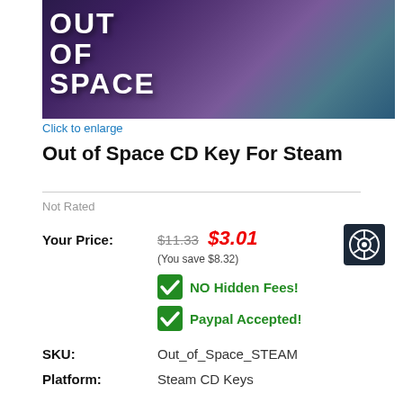[Figure (illustration): Game cover art for 'Out of Space' showing cartoon alien characters with the game title text in large white bold letters on a colorful background]
Click to enlarge
Out of Space CD Key For Steam
Not Rated
Your Price: $11.33 $3.01 (You save $8.32)
NO Hidden Fees!
Paypal Accepted!
SKU: Out_of_Space_STEAM
Platform: Steam CD Keys